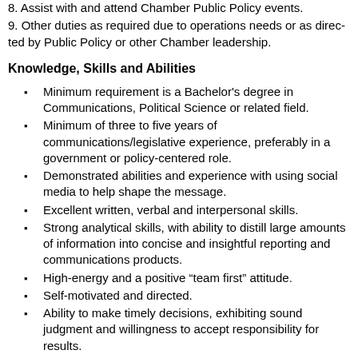8. Assist with and attend Chamber Public Policy events.
9. Other duties as required due to operations needs or as directed by Public Policy or other Chamber leadership.
Knowledge, Skills and Abilities
Minimum requirement is a Bachelor's degree in Communications, Political Science or related field.
Minimum of three to five years of communications/legislative experience, preferably in a government or policy-centered role.
Demonstrated abilities and experience with using social media to help shape the message.
Excellent written, verbal and interpersonal skills.
Strong analytical skills, with ability to distill large amounts of information into concise and insightful reporting and communications products.
High-energy and a positive “team first” attitude.
Self-motivated and directed.
Ability to make timely decisions, exhibiting sound judgment and willingness to accept responsibility for results.
Proficiency in Windows and Microsoft Office programs.